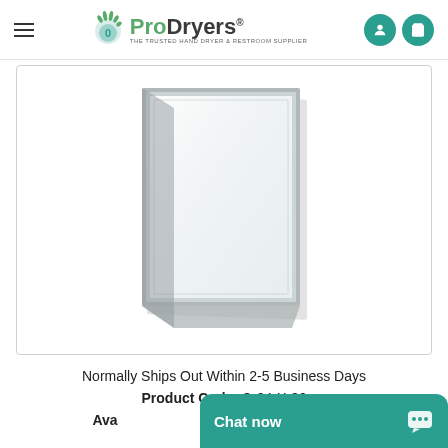ProDryers® - THE TRUSTED HAND DRYER & RESTROOM SUPPLIER
[Figure (photo): A rectangular wall-mounted mirror with a silver metal frame, photographed at a slight angle against a white background.]
Normally Ships Out Within 2-5 Business Days
Product Code: C-24-X-36
Ava[ilability] Chat now